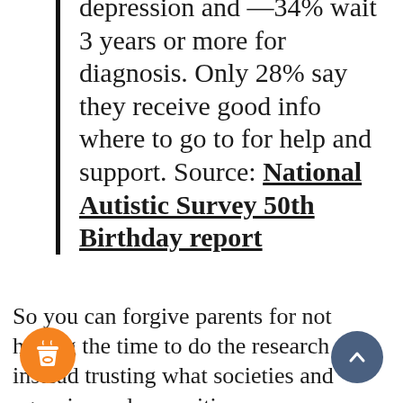depression and —34% wait 3 years or more for diagnosis. Only 28% say they receive good info where to go to for help and support. Source: National Autistic Survey 50th Birthday report
So you can forgive parents for not having the time to do the research and, instead trusting what societies and agencies and charities say.